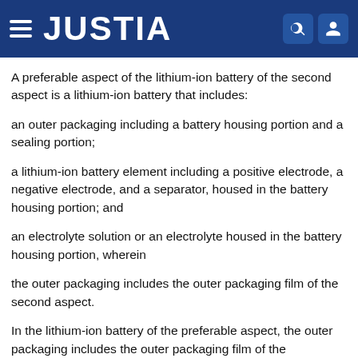JUSTIA
A preferable aspect of the lithium-ion battery of the second aspect is a lithium-ion battery that includes:
an outer packaging including a battery housing portion and a sealing portion;
a lithium-ion battery element including a positive electrode, a negative electrode, and a separator, housed in the battery housing portion; and
an electrolyte solution or an electrolyte housed in the battery housing portion, wherein
the outer packaging includes the outer packaging film of the second aspect.
In the lithium-ion battery of the preferable aspect, the outer packaging includes the outer packaging film of the